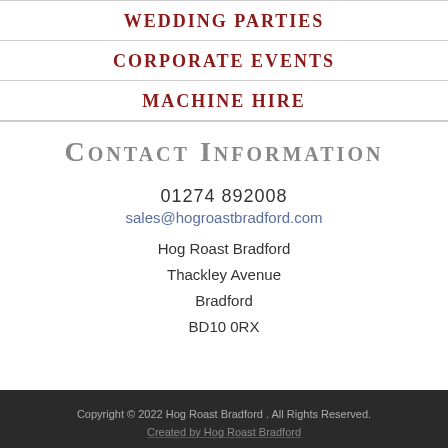Wedding Parties
Corporate Events
Machine Hire
Contact Information
01274 892008
sales@hogroastbradford.com
Hog Roast Bradford
Thackley Avenue
Bradford
BD10 0RX
Copyright © 2022 Hog Roast Bradford . All Rights Reserved.
Created by Hog Roast Bradford